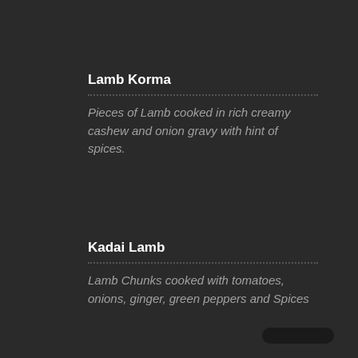Lamb Korma
Pieces of Lamb cooked in rich creamy cashew and onion gravy with hint of spices.
Kadai Lamb
Lamb Chunks cooked with tomatoes, onions, ginger, green peppers and Spices